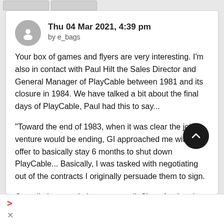Thu 04 Mar 2021, 4:39 pm by e_bags
Your box of games and flyers are very interesting. I'm also in contact with Paul Hilt the Sales Director and General Manager of PlayCable between 1981 and its closure in 1984. We have talked a bit about the final days of PlayCable, Paul had this to say...
"Toward the end of 1983, when it was clear the joint venture would be ending, GI approached me with an offer to basically stay 6 months to shut down PlayCable... Basically, I was tasked with negotiating out of the contracts I originally persuade them to sign.
Overall, the negotiations went well. Since Atari and Mattel Electronics business problems and losses were well known at